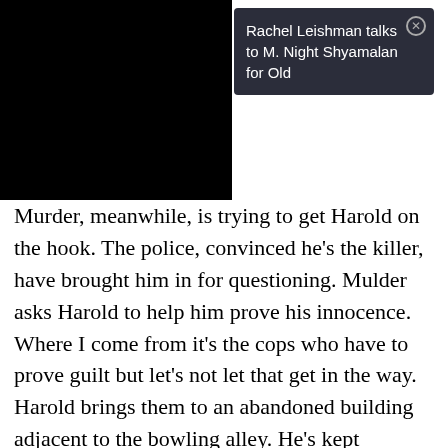[Figure (photo): Black rectangle representing a video/image placeholder on the left side of the page top]
Rachel Leishman talks to M. Night Shyamalan for Old
Murder, meanwhile, is trying to get Harold on the hook. The police, convinced he's the killer, have brought him in for questioning. Mulder asks Harold to help him prove his innocence. Where I come from it's the cops who have to prove guilt but let's not let that get in the way. Harold brings them to an abandoned building adjacent to the bowling alley. He's kept scoresheets from everyone who's visited the alley over several years and they're all pinned up on the wall. The victims' names are among those on the cards. While the police look this over, Harold suddenly sees Mr Pintero as a ghost and freaks out